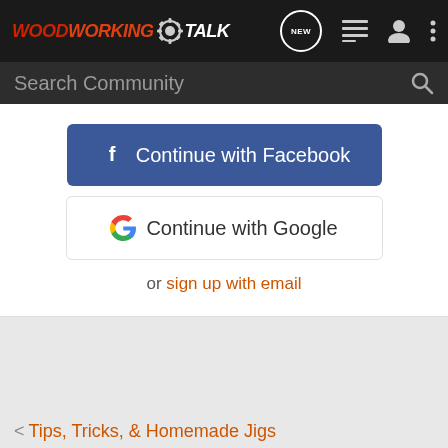WoodworkingTalk - header navigation
Search Community
Continue with Facebook
Continue with Google
or sign up with email
< Tips, Tricks, & Homemade Jigs
Home  About Us  Terms of Use  Privacy Policy  Help  Business  Grow Y...
[Figure (screenshot): 3M Pro Grade Precision advertisement banner: Faster Sanding Sheets, Built to Perform]